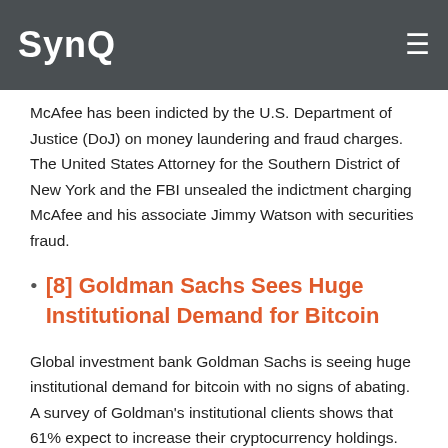SynQ
McAfee has been indicted by the U.S. Department of Justice (DoJ) on money laundering and fraud charges. The United States Attorney for the Southern District of New York and the FBI unsealed the indictment charging McAfee and his associate Jimmy Watson with securities fraud.
[8] Goldman Sachs Sees Huge Institutional Demand for Bitcoin
Global investment bank Goldman Sachs is seeing huge institutional demand for bitcoin with no signs of abating. A survey of Goldman's institutional clients shows that 61% expect to increase their cryptocurrency holdings.